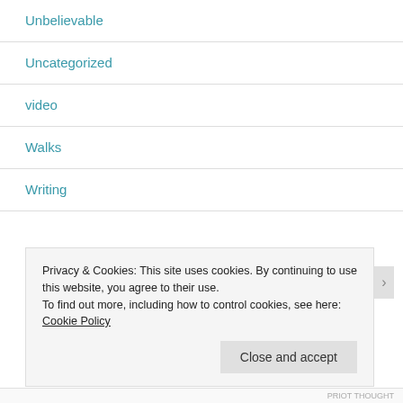Unbelievable
Uncategorized
video
Walks
Writing
- CLOUD OF CONSCIOUSNESS -
Privacy & Cookies: This site uses cookies. By continuing to use this website, you agree to their use.
To find out more, including how to control cookies, see here: Cookie Policy
PRIOT THOUGHT